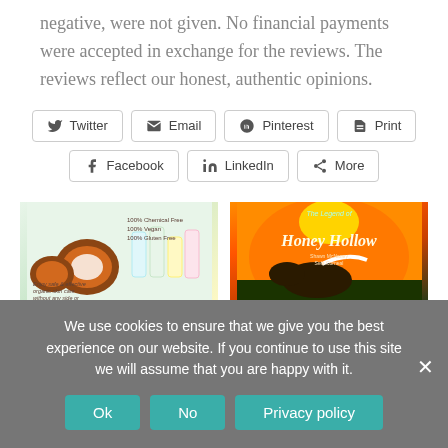negative, were not given. No financial payments were accepted in exchange for the reviews. The reviews reflect our honest, authentic opinions.
Twitter | Email | Pinterest | Print | Facebook | LinkedIn | More
[Figure (photo): Certified Organic skincare products with coconuts]
Certified Organic
[Figure (photo): Book cover: The Legend of Honey Hollow]
Eco-Libris: Review
We use cookies to ensure that we give you the best experience on our website. If you continue to use this site we will assume that you are happy with it.
Ok | No | Privacy policy